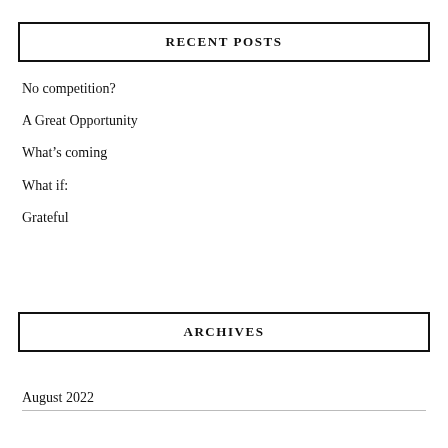RECENT POSTS
No competition?
A Great Opportunity
What’s coming
What if:
Grateful
ARCHIVES
August 2022